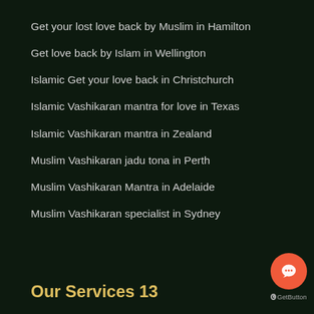Get your lost love back by Muslim in Hamilton
Get love back by Islam in Wellington
Islamic Get your love back in Christchurch
Islamic Vashikaran mantra for love in Texas
Islamic Vashikaran mantra in Zealand
Muslim Vashikaran jadu tona in Perth
Muslim Vashikaran Mantra in Adelaide
Muslim Vashikaran specialist in Sydney
Our Services 13